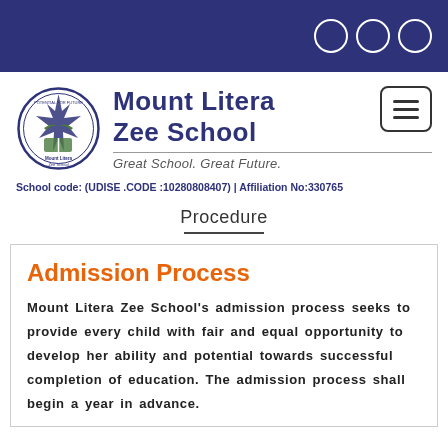[Figure (logo): Mount Litera Zee School circular logo with star and book motif]
Mount Litera Zee School
Great School. Great Future.
School code: (UDISE .CODE :10280808407) | Affiliation No:330765
Procedure
Admission Process
Mount Litera Zee School's admission process seeks to provide every child with fair and equal opportunity to develop her ability and potential towards successful completion of education. The admission process shall begin a year in advance.